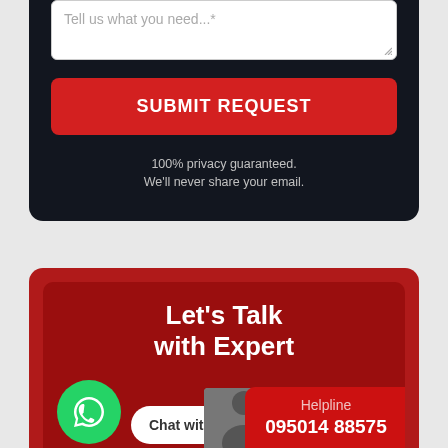Tell us what you need...*
SUBMIT REQUEST
100% privacy guaranteed.
We'll never share your email.
Let's Talk with Expert
Chat with Expert!!
Helpline
095014 88575